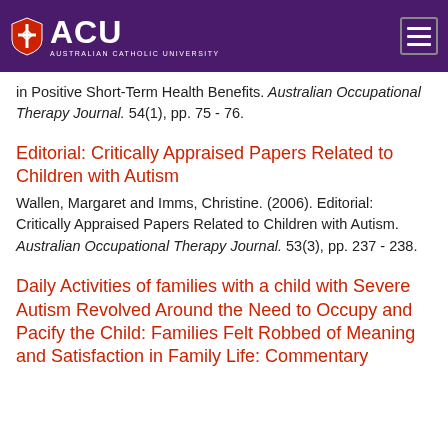ACU — Australian Catholic University
in Positive Short-Term Health Benefits. Australian Occupational Therapy Journal. 54(1), pp. 75 - 76.
Editorial: Critically Appraised Papers Related to Children with Autism
Wallen, Margaret and Imms, Christine. (2006). Editorial: Critically Appraised Papers Related to Children with Autism. Australian Occupational Therapy Journal. 53(3), pp. 237 - 238.
Daily Activities of families with a child with Severe Autism Revolved Around the Need to Occupy and Pacify the Child: Families Felt Robbed of Meaning and Satisfaction in Family Life: Commentary